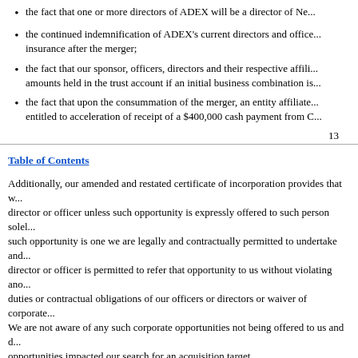the fact that one or more directors of ADEX will be a director of Ne...
the continued indemnification of ADEX's current directors and officers and directors' and officers' insurance after the merger;
the fact that our sponsor, officers, directors and their respective affiliates will lose the right to the amounts held in the trust account if an initial business combination is not completed;
the fact that upon the consummation of the merger, an entity affiliated with our sponsor will be entitled to acceleration of receipt of a $400,000 cash payment from C...
13
Table of Contents
Additionally, our amended and restated certificate of incorporation provides that we will not be required to offer any opportunity to any director or officer unless such opportunity is expressly offered to such person solely in his or her capacity as a director or officer, such opportunity is one we are legally and contractually permitted to undertake and would otherwise be required to offer to such director or officer is permitted to refer that opportunity to us without violating another legal obligation. We do not believe that the fiduciary duties or contractual obligations of our officers or directors or waiver of corporate opportunities impacted our search for an acquisition target. We are not aware of any such corporate opportunities not being offered to us and do not believe that any waiver of corporate opportunities impacted our search for an acquisition target.
Q:   Do I have redemption rights?
A:   Pursuant to our existing organizational documents, we are providing the public stockholders with the opportunity to redeem all or a portion of their public shares upon the closing of the merger at a per-share price, payable in cash, equal to the aggregate amount then on deposit in the trust account as of two business days prior to the consummation of the merger, including interest (which interest shall be net of taxes payable), divided by the number of then outstanding public shares...